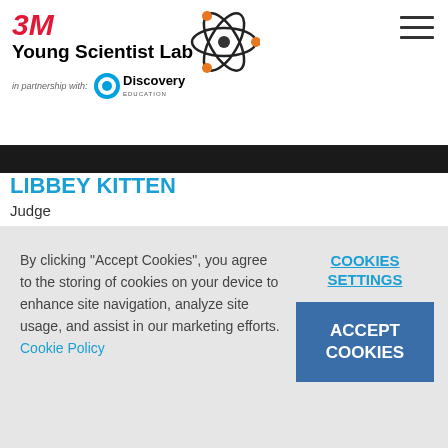3M Young Scientist Lab in partnership with Discovery Education
LIBBEY KITTEN
Judge
Libbey Kitten's twenty-two year teaching career spans three states in both public and private school
By clicking "Accept Cookies", you agree to the storing of cookies on your device to enhance site navigation, analyze site usage, and assist in our marketing efforts. Cookie Policy
COOKIES SETTINGS
ACCEPT COOKIES